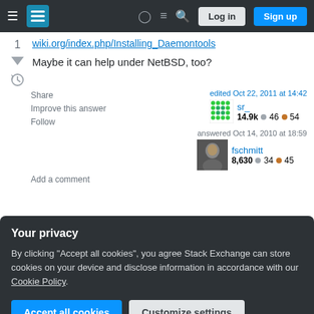Stack Exchange navigation bar with Log in and Sign up buttons
1  wiki.org/index.php/Installing_Daemontools
Maybe it can help under NetBSD, too?
Share  Improve this answer  Follow
edited Oct 22, 2011 at 14:42
sr_
14.9k ● 46 ● 54
answered Oct 14, 2010 at 18:59
fschmitt
8,630 ● 34 ● 45
Add a comment
Your privacy
By clicking "Accept all cookies", you agree Stack Exchange can store cookies on your device and disclose information in accordance with our Cookie Policy.
Accept all cookies   Customize settings
the old BSD PC, and updates other /etc/inittab